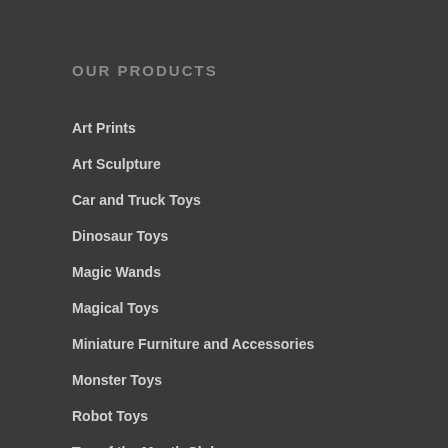OUR PRODUCTS
Art Prints
Art Sculpture
Car and Truck Toys
Dinosaur Toys
Magic Wands
Magical Toys
Miniature Furniture and Accessories
Monster Toys
Robot Toys
Toy of the Month Club
Wooden Animals